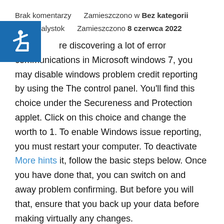Brak komentarzy    Zamieszczono w Bez kategorii
przez bialystok    Zamieszczono 8 czerwca 2022
[Figure (illustration): Blue square accessibility icon with wheelchair symbol in white]
If you're discovering a lot of error communications in Microsoft windows 7, you may disable windows problem credit reporting by using the The control panel. You'll find this choice under the Secureness and Protection applet. Click on this choice and change the worth to 1. To enable Windows issue reporting, you must restart your computer. To deactivate More hints it, follow the basic steps below. Once you have done that, you can switch on and away problem confirming. But before you will that, ensure that you back up your data before making virtually any changes.
In the event the Windows Mistake Reporting service plan is causing you trouble, you are able to disable this. Run the command Disable-WindowsErrorReporting to eliminate it. Yet , you need to reboot your PC following each time you run it. In the